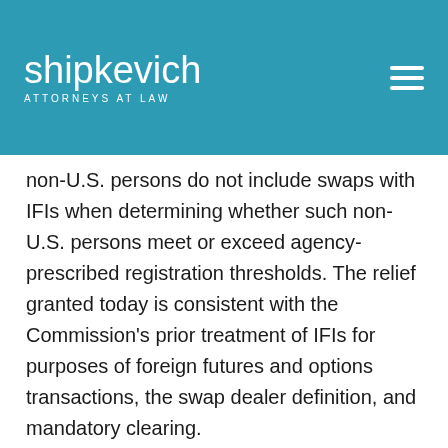shipkevich ATTORNEYS AT LAW
non-U.S. persons do not include swaps with IFIs when determining whether such non-U.S. persons meet or exceed agency-prescribed registration thresholds. The relief granted today is consistent with the Commission's prior treatment of IFIs for purposes of foreign futures and options transactions, the swap dealer definition, and mandatory clearing.
The IFIs referenced in the no-action letter include the North American Development Bank, International Monetary Fund, International Bank for Reconstruction and Development, European Bank for Reconstruction and Development, International Development Association, International